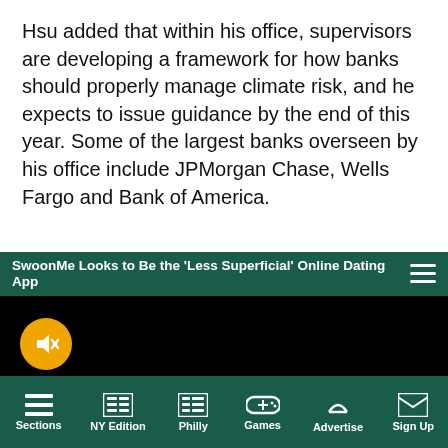Hsu added that within his office, supervisors are developing a framework for how banks should properly manage climate risk, and he expects to issue guidance by the end of this year. Some of the largest banks overseen by his office include JPMorgan Chase, Wells Fargo and Bank of America.
[Figure (screenshot): Video player with dark background showing SwoonMe dating app advertisement. Header bar reads 'SwoonMe Looks to Be the Less Superficial Online Dating App' with hamburger menu icon. Orange mute button in lower left. Partial globe icon visible in lower right.]
Sections | NY Edition | Philly | Games | Advertise | Sign Up